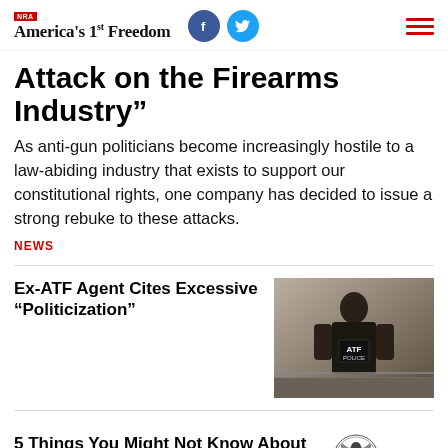NRA America's 1st Freedom
Attack on the Firearms Industry"
As anti-gun politicians become increasingly hostile to a law-abiding industry that exists to support our constitutional rights, one company has decided to issue a strong rebuke to these attacks.
NEWS
Ex-ATF Agent Cites Excessive “Politicization”
[Figure (photo): ATF Police officer seen from behind wearing a vest labeled ATF POLICE]
5 Things You Might Not Know About the Bill to Ban “Assault Weapons”
[Figure (logo): NRA eagle logo with NRA text]